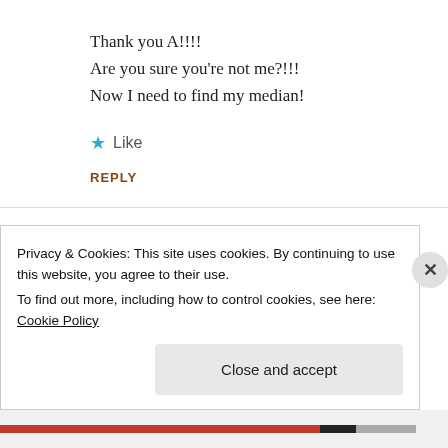Thank you A!!!!
Are you sure you're not me?!!!
Now I need to find my median!
Like
REPLY
[Figure (logo): Blue geometric snowflake/pinwheel logo for user amberlyreynolds]
amberlyreynolds
Privacy & Cookies: This site uses cookies. By continuing to use this website, you agree to their use.
To find out more, including how to control cookies, see here: Cookie Policy
Close and accept